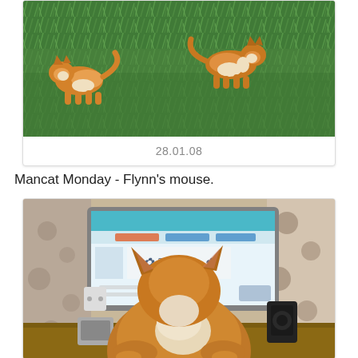[Figure (photo): Two orange and white cats walking on green grass, viewed from above]
28.01.08
Mancat Monday - Flynn's mouse.
[Figure (photo): An orange and white cat sitting in front of a computer monitor displaying the Zoolatry website]